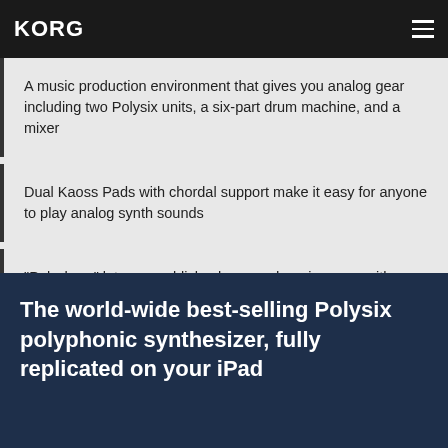KORG
A music production environment that gives you analog gear including two Polysix units, a six-part drum machine, and a mixer
Dual Kaoss Pads with chordal support make it easy for anyone to play analog synth sounds
"Polyshare" lets you publish, share, and remix songs with iPolysix users around the world
The world-wide best-selling Polysix polyphonic synthesizer, fully replicated on your iPad